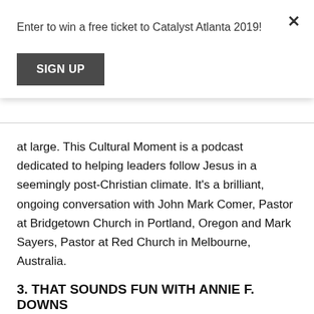Enter to win a free ticket to Catalyst Atlanta 2019!
SIGN UP
at large. This Cultural Moment is a podcast dedicated to helping leaders follow Jesus in a seemingly post-Christian climate. It's a brilliant, ongoing conversation with John Mark Comer, Pastor at Bridgetown Church in Portland, Oregon and Mark Sayers, Pastor at Red Church in Melbourne, Australia.
3. THAT SOUNDS FUN WITH ANNIE F. DOWNS
Sometimes you just want to hear two friends have a fun, light-hearted conversation that leaves you with laughs and plenty of truth to think through. Annie F. Downs provides this for many leaders. Her ability to have authentic conversations built on empathetic curiosity show us all the power of friendship and fun. She also offers incredibly